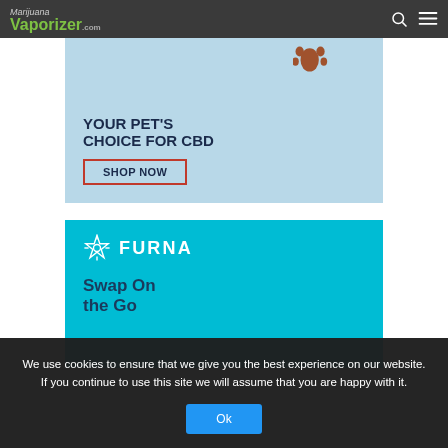Marijuana Vaporizer .com
[Figure (illustration): Advertisement banner with light blue background showing pet CBD product. Text reads YOUR PET'S CHOICE FOR CBD with a SHOP NOW button in red border.]
[Figure (illustration): Advertisement banner with teal/cyan background showing FURNA brand logo (snowflake-like icon) and text: Swap On the Go]
We use cookies to ensure that we give you the best experience on our website. If you continue to use this site we will assume that you are happy with it.